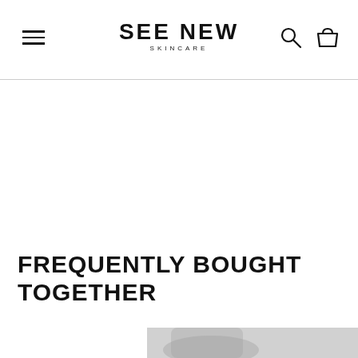SEE NEW SKINCARE — navigation header with hamburger menu, logo, search and basket icons
FREQUENTLY BOUGHT TOGETHER
[Figure (photo): Partial product image visible at the bottom of the page, black and white product photography]